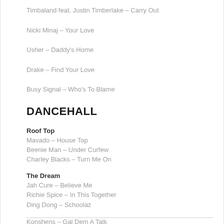Timbaland feat. Justin Timberlake – Carry Out
Nicki Minaj – Your Love
Usher – Daddy's Home
Drake – Find Your Love
Busy Signal – Who's To Blame
DANCEHALL
Roof Top
Mavado – House Top
Beenie Man – Under Curfew
Charley Blacks – Turn Me On
The Dream
Jah Cure – Believe Me
Richie Spice – In This Together
Ding Dong – Schoolaz
Konshens – Gal Dem A Talk